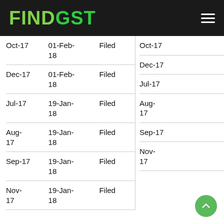FINDGST
|  |  |  |
| --- | --- | --- |
| Oct-17 | 01-Feb-18 | Filed |
| Dec-17 | 01-Feb-18 | Filed |
| Jul-17 | 19-Jan-18 | Filed |
| Aug-17 | 19-Jan-18 | Filed |
| Sep-17 | 19-Jan-18 | Filed |
| Nov-17 | 19-Jan-18 | Filed |
|  |
| --- |
| Oct-17 |
| Dec-17 |
| Jul-17 |
| Aug-17 |
| Sep-17 |
| Nov-17 |